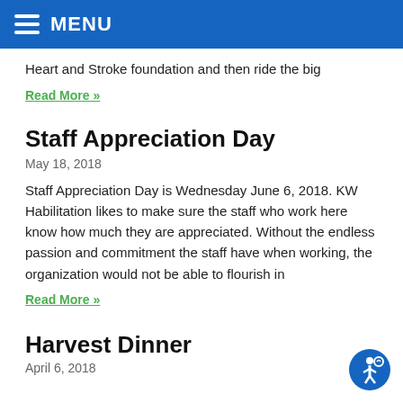MENU
Heart and Stroke foundation and then ride the big
Read More »
Staff Appreciation Day
May 18, 2018
Staff Appreciation Day is Wednesday June 6, 2018. KW Habilitation likes to make sure the staff who work here know how much they are appreciated. Without the endless passion and commitment the staff have when working, the organization would not be able to flourish in
Read More »
Harvest Dinner
April 6, 2018